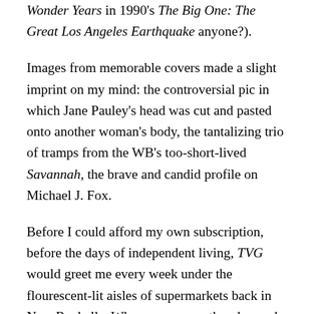Wonder Years in 1990's The Big One: The Great Los Angeles Earthquake anyone?).
Images from memorable covers made a slight imprint on my mind: the controversial pic in which Jane Pauley's head was cut and pasted onto another woman's body, the tantalizing trio of tramps from the WB's too-short-lived Savannah, the brave and candid profile on Michael J. Fox.
Before I could afford my own subscription, before the days of independent living, TVG would greet me every week under the flourescent-lit aisles of supermarkets back in New Rochelle. Whenever my mother dragged me to the A&P for a little grocery shopping, the first thing I would do when we passed through those sliding doors was run to the checkout stands, grab the newest issue, and start absorbing the following week's schedule. Were there repeats? What late-night B-movies were playing on USA over the weekend? Which damsel was in distress